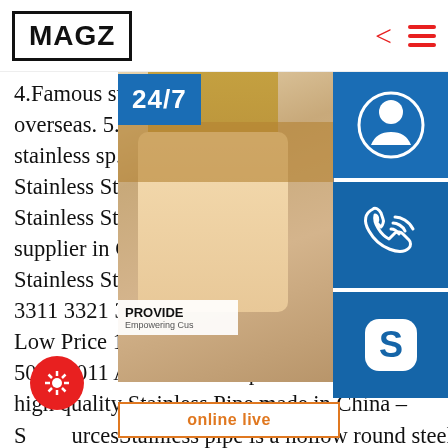MAGZ
4.Famous stainless steel company in China and overseas. 5.Strong ability to supply. 6. stainless sp.info China High Quality Stainless Steel Pipe for 347H Stainless Stainless Steel Tube, Steel Pipe manufacturer supplier in China, offering High Quality Stainless Steel Pipe for Hotel Decoration, 3311 3321 3340 4032 6061 6063 Aluminum Low Price 1050 1060 1070 1100 3A21 3003 3103 3004 5052 8011 Aluminum Strip Coil and so on.sp.info high quality Stainless Pipe made in China - SourcesStainless pipe is a hollow round steel, mainly widely used in petroleum, chemical, medical,
[Figure (photo): Customer support representative with headset, with 24/7 support banner, phone icon, Skype icon, and online live chat button overlaid on the right side]